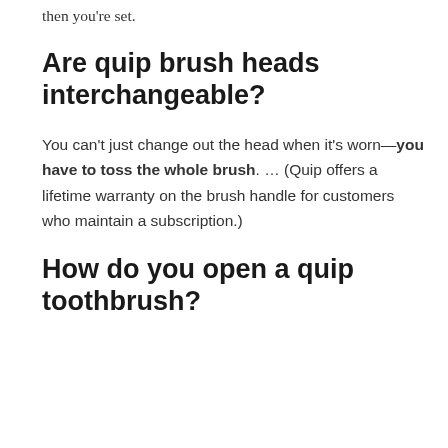then you're set.
Are quip brush heads interchangeable?
You can't just change out the head when it's worn—you have to toss the whole brush. … (Quip offers a lifetime warranty on the brush handle for customers who maintain a subscription.)
How do you open a quip toothbrush?